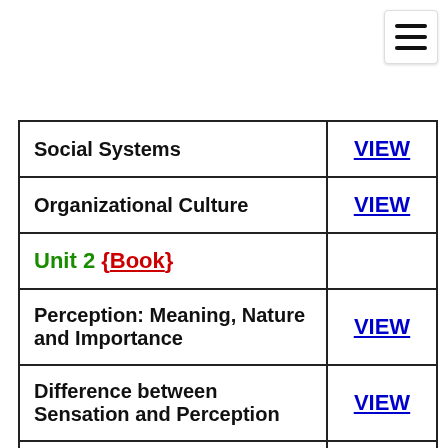| Topic | Link |
| --- | --- |
| Social Systems | VIEW |
| Organizational Culture | VIEW |
| Unit 2 {Book} |  |
| Perception: Meaning, Nature and Importance | VIEW |
| Difference between Sensation and Perception | VIEW |
| Personality | VIEW |